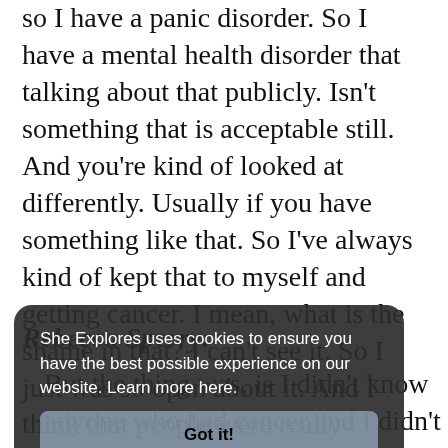so I have a panic disorder. So I have a mental health disorder that talking about that publicly. Isn't something that is acceptable still. And you're kind of looked at differently. Usually if you have something like that. So I've always kind of kept that to myself and getting cancer. I mean, what is the shame in that? I can't see it. So I just was so open about it. And I think that people were really surprised that I was so willing to be so open about something that was a big deal that I should've kept maybe a secret and didn't real, or it was supposed to be something I didn't talk about publicly.
Rebecca Sperry:
But the thing was, is I didn't know anyone who had cancer and I didn't even know it looked or what it, what to do with that. So it
She Explores uses cookies to ensure you have the best possible experience on our website. Learn more here. Got it!